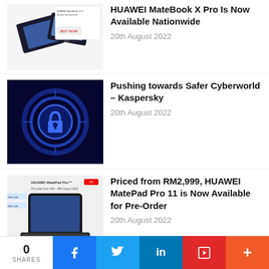[Figure (photo): HUAWEI MateBook X Pro laptop product image on white background]
HUAWEI MateBook X Pro Is Now Available Nationwide
20th August 2022
[Figure (photo): Cybersecurity padlock glowing blue digital world illustration]
Pushing towards Safer Cyberworld – Kaspersky
20th August 2022
[Figure (photo): HUAWEI MatePad Pro 11 tablet pre-order promotional image]
Priced from RM2,999, HUAWEI MatePad Pro 11 is Now Available for Pre-Order
20th August 2022
[Figure (photo): Man with SQL database graphic and purple background for tutorial video]
[Video] you need to learn SQL RIGHT NOW!! (SQL Tutorial for Beginners)
0 SHARES  f  t  in  F  +